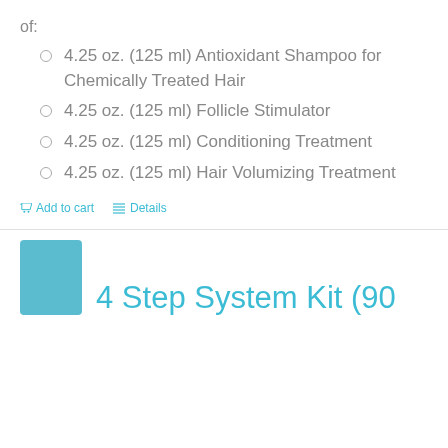of:
4.25 oz. (125 ml) Antioxidant Shampoo for Chemically Treated Hair
4.25 oz. (125 ml) Follicle Stimulator
4.25 oz. (125 ml) Conditioning Treatment
4.25 oz. (125 ml) Hair Volumizing Treatment
Add to cart   Details
4 Step System Kit (90